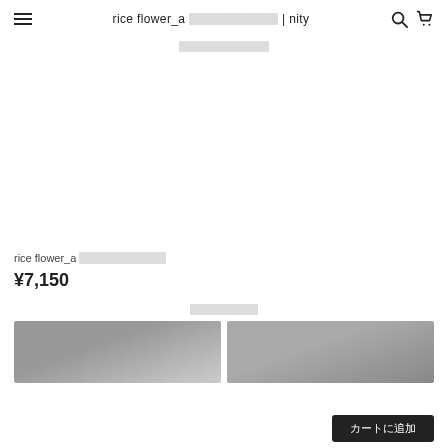rice flower_a ライス フラワーa | nity
カートに追加する
[Figure (photo): Product image area (white/blank)]
rice flower_a ライス フラワーa
¥7,150
おすすめ商品
[Figure (photo): Recommended product photo left - grey toned]
[Figure (photo): Recommended product photo right - grey toned]